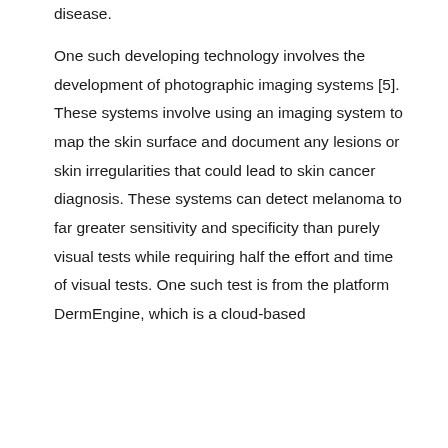disease.
One such developing technology involves the development of photographic imaging systems [5]. These systems involve using an imaging system to map the skin surface and document any lesions or skin irregularities that could lead to skin cancer diagnosis. These systems can detect melanoma to far greater sensitivity and specificity than purely visual tests while requiring half the effort and time of visual tests. One such test is from the platform DermEngine, which is a cloud-based